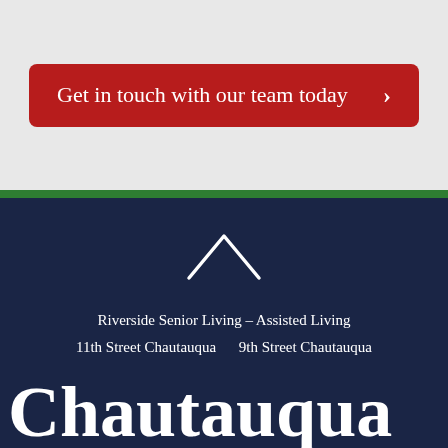Get in touch with our team today  >
Riverside Senior Living – Assisted Living
11th Street Chautauqua    9th Street Chautauqua
Chautauqua